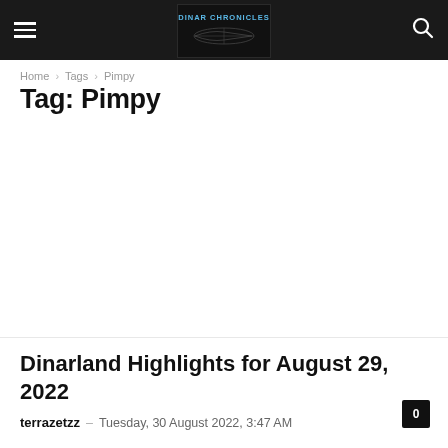Dinar Chronicles — DINAR CHRONICLES header with hamburger menu and search icon
Home › Tags › Pimpy
Tag: Pimpy
Dinarland Highlights for August 29, 2022
terrazetzz – Tuesday, 30 August 2022, 3:47 AM